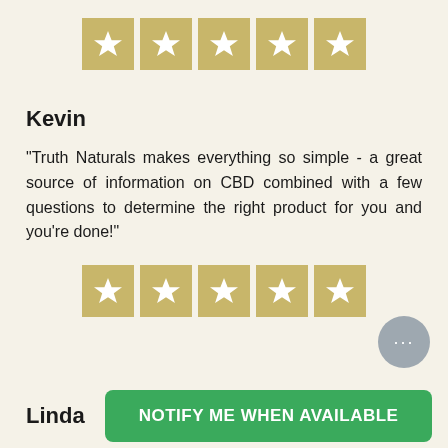[Figure (other): Five gold star rating boxes in a row]
Kevin
"Truth Naturals makes everything so simple - a great source of information on CBD combined with a few questions to determine the right product for you and you're done!"
[Figure (other): Five gold star rating boxes in a row]
Linda
NOTIFY ME WHEN AVAILABLE